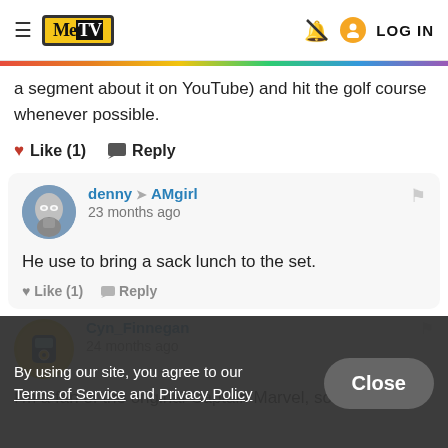MeTV — LOG IN
a segment about it on YouTube) and hit the golf course whenever possible.
❤ Like (1)   💬 Reply
denny → AMgirl
23 months ago
He use to bring a sack lunch to the set.
❤ Like (1)   💬 Reply
By using our site, you agree to our Terms of Service and Privacy Policy
Close
Cyn_Finnegan
24 months ago
I'm a fan of the original Captain Marvel, so I did